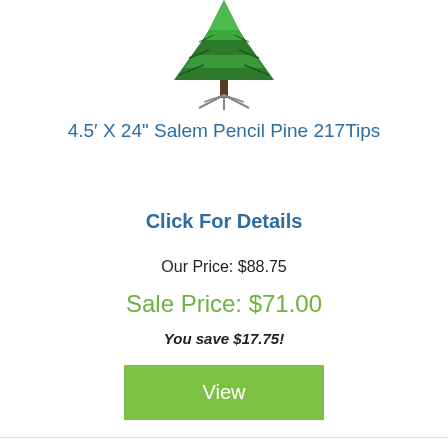[Figure (illustration): Artificial Christmas tree (4.5 ft pencil pine) with metal stand, top portion visible]
4.5' X 24" Salem Pencil Pine 217Tips
Click For Details
Our Price: $88.75
Sale Price: $71.00
You save $17.75!
View